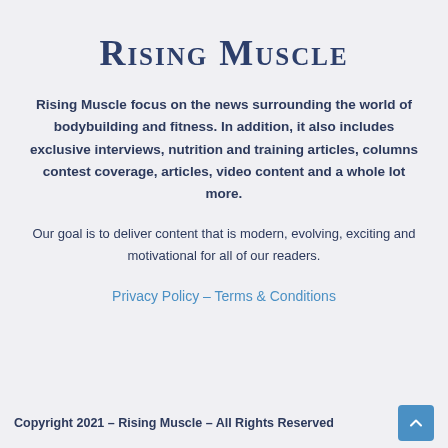Rising Muscle
Rising Muscle focus on the news surrounding the world of bodybuilding and fitness. In addition, it also includes exclusive interviews, nutrition and training articles, columns contest coverage, articles, video content and a whole lot more.
Our goal is to deliver content that is modern, evolving, exciting and motivational for all of our readers.
Privacy Policy – Terms & Conditions
Copyright 2021 – Rising Muscle – All Rights Reserved